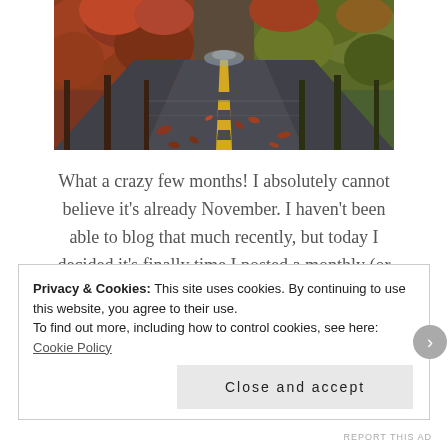[Figure (photo): Autumn road perspective shot: a wet asphalt road lined with red/orange foliage trees on both sides, with yellow center lines receding into the distance, fallen leaves on the road surface.]
What a crazy few months! I absolutely cannot believe it's already November. I haven't been able to blog that much recently, but today I decided it's finally time I posted a monthly (or in this case, bi-monthly) wrap-up.
Privacy & Cookies: This site uses cookies. By continuing to use this website, you agree to their use. To find out more, including how to control cookies, see here: Cookie Policy
Close and accept